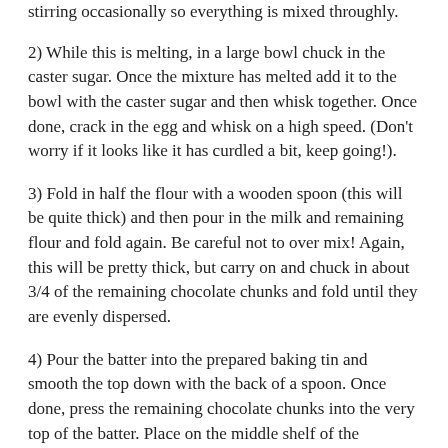stirring occasionally so everything is mixed throughly.
2) While this is melting, in a large bowl chuck in the caster sugar. Once the mixture has melted add it to the bowl with the caster sugar and then whisk together. Once done, crack in the egg and whisk on a high speed. (Don't worry if it looks like it has curdled a bit, keep going!).
3) Fold in half the flour with a wooden spoon (this will be quite thick) and then pour in the milk and remaining flour and fold again. Be careful not to over mix! Again, this will be pretty thick, but carry on and chuck in about 3/4 of the remaining chocolate chunks and fold until they are evenly dispersed.
4) Pour the batter into the prepared baking tin and smooth the top down with the back of a spoon. Once done, press the remaining chocolate chunks into the very top of the batter. Place on the middle shelf of the preheated oven for about 20 mins or until a skewer inserted come out clean and it has lightly browned on top.
5) When this is near the latter stages of cooking in the oven, chuck your fudge into a saucepan over a medium-low heat and allow to melt slowly, when it is begins to melt, chuck in the extra tbsp of milk